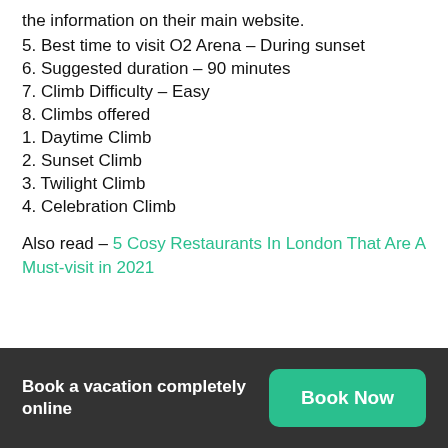the information on their main website.
5. Best time to visit O2 Arena – During sunset
6. Suggested duration – 90 minutes
7. Climb Difficulty – Easy
8. Climbs offered
1. Daytime Climb
2. Sunset Climb
3. Twilight Climb
4. Celebration Climb
Also read – 5 Cosy Restaurants In London That Are A Must-visit in 2021
Book a vacation completely online  Book Now